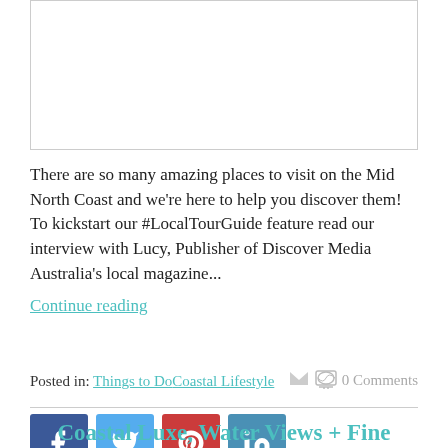[Figure (photo): Image placeholder at top of article]
There are so many amazing places to visit on the Mid North Coast and we're here to help you discover them! To kickstart our #LocalTourGuide feature read our interview with Lucy, Publisher of Discover Media Australia's local magazine...
Continue reading
Posted in: Things to Do Coastal Lifestyle
0 Comments
[Figure (infographic): Social share icons: Facebook, Twitter, Pinterest, LinkedIn]
Coastal Luxe, Water Views + Fine Seafood Dining at the Whalebone Wharf